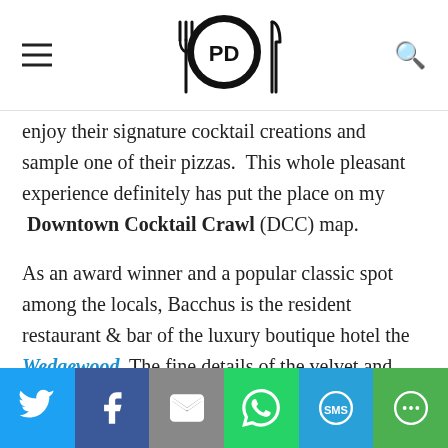PD logo with fork and knife icon
enjoy their signature cocktail creations and sample one of their pizzas.  This whole pleasant experience definitely has put the place on my  Downtown Cocktail Crawl (DCC) map.
As an award winner and a popular classic spot among the locals, Bacchus is the resident restaurant & bar of the luxury boutique hotel the Wedgewood. The fine details of the velvet and cherrywood reminded me of being at The Venetian in Las Vegas.  The ambiance
Social share bar: Twitter, Facebook, Email, WhatsApp, SMS, More